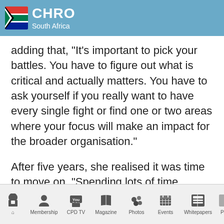CHRO South Africa
adding that, “It’s important to pick your battles. You have to figure out what is critical and actually matters. You have to ask yourself if you really want to have every single fight or find one or two areas where your focus will make an impact for the broader organisation.”
After five years, she realised it was time to move on. “Spending lots of time managing what in other environments would be considered misbehaviour got to be like Groundhog Day.”
Home | Membership | CPD TV | Magazine | Photos | Events | Whitepapers | Pa...